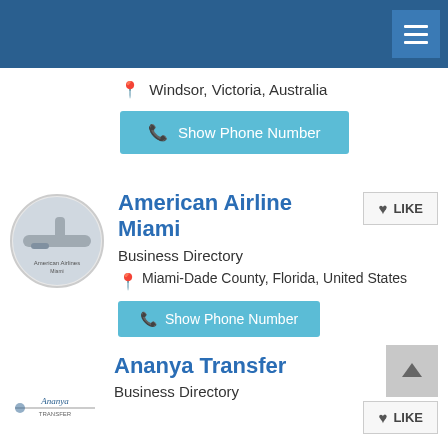Navigation header bar
Windsor, Victoria, Australia
Show Phone Number
American Airline Miami
Business Directory
Miami-Dade County, Florida, United States
Show Phone Number
Ananya Transfer
Business Directory